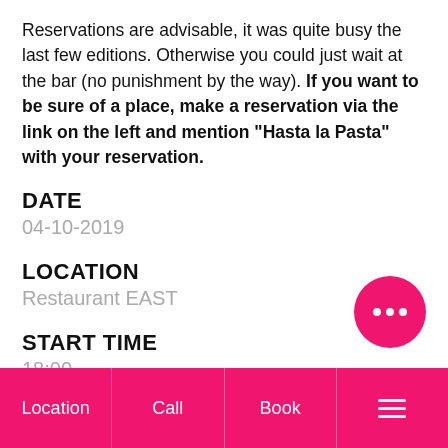Reservations are advisable, it was quite busy the last few editions. Otherwise you could just wait at the bar (no punishment by the way). If you want to be sure of a place, make a reservation via the link on the left and mention "Hasta la Pasta" with your reservation.
DATE
04-10-2019
LOCATION
Restaurant EAST
START TIME
18:00
Location | Call | Book | ☰